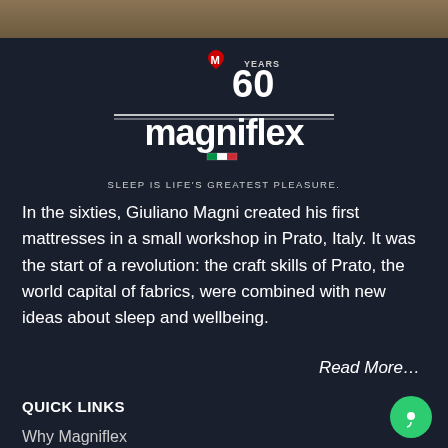[Figure (photo): Top portion of a bedroom/product image strip in warm brown tones]
[Figure (logo): Magniflex 60 Years logo with red heart, infinity symbol, and Italian flag badge. Text reads 'magniflex' in white with tagline 'SLEEP IS LIFE'S GREATEST PLEASURE.']
In the sixties, Giuliano Magni created his first mattresses in a small workshop in Prato, Italy. It was the start of a revolution: the craft skills of Prato, the world capital of fabrics, were combined with new ideas about sleep and wellbeing.
Read More…
QUICK LINKS
Why Magniflex